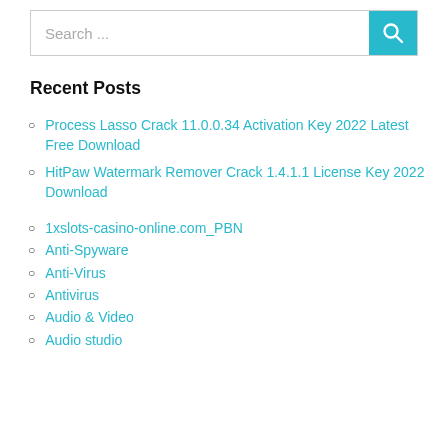[Figure (screenshot): Search bar with teal search button icon]
Recent Posts
Process Lasso Crack 11.0.0.34 Activation Key 2022 Latest Free Download
HitPaw Watermark Remover Crack 1.4.1.1 License Key 2022 Download
1xslots-casino-online.com_PBN
Anti-Spyware
Anti-Virus
Antivirus
Audio & Video
Audio studio